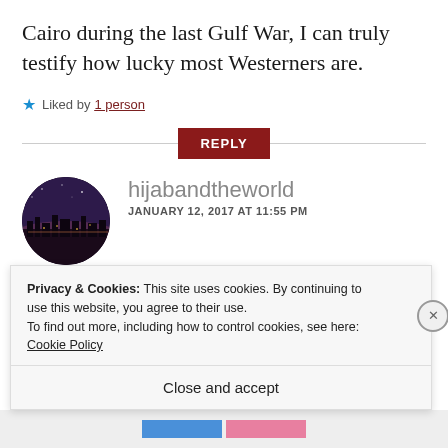Cairo during the last Gulf War, I can truly testify how lucky most Westerners are.
★ Liked by 1 person
REPLY
[Figure (photo): Circular avatar showing a city skyline at night with purple-toned sky]
hijabandtheworld
JANUARY 12, 2017 AT 11:55 PM
I don't agree with this opinion that
Privacy & Cookies: This site uses cookies. By continuing to use this website, you agree to their use.
To find out more, including how to control cookies, see here: Cookie Policy
Close and accept